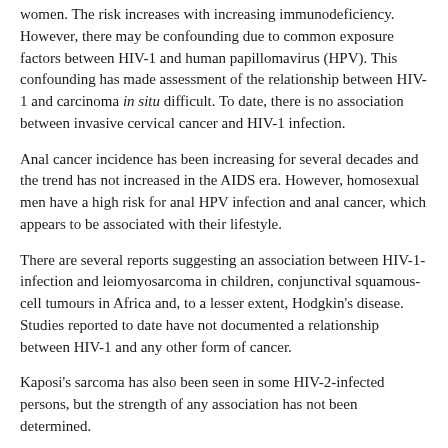women. The risk increases with increasing immunodeficiency. However, there may be confounding due to common exposure factors between HIV-1 and human papillomavirus (HPV). This confounding has made assessment of the relationship between HIV-1 and carcinoma in situ difficult. To date, there is no association between invasive cervical cancer and HIV-1 infection.
Anal cancer incidence has been increasing for several decades and the trend has not increased in the AIDS era. However, homosexual men have a high risk for anal HPV infection and anal cancer, which appears to be associated with their lifestyle.
There are several reports suggesting an association between HIV-1-infection and leiomyosarcoma in children, conjunctival squamous-cell tumours in Africa and, to a lesser extent, Hodgkin's disease. Studies reported to date have not documented a relationship between HIV-1 and any other form of cancer.
Kaposi's sarcoma has also been seen in some HIV-2-infected persons, but the strength of any association has not been determined.
There are a few case reports and one case-control study suggesting that HIV-2 infection may be associated with non-Hodgkin's lymphoma.